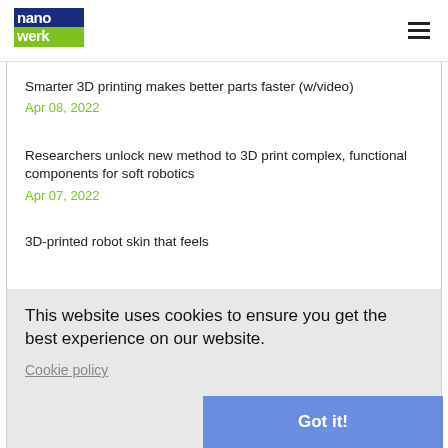[Figure (logo): Nanowerk logo: blue block with 'nano' in white, green block with 'werk' in white]
Smarter 3D printing makes better parts faster (w/video)
Apr 08, 2022
Researchers unlock new method to 3D print complex, functional components for soft robotics
Apr 07, 2022
3D-printed robot skin that feels
This website uses cookies to ensure you get the best experience on our website.
Cookie policy
Got it!
Mar 31, 2022